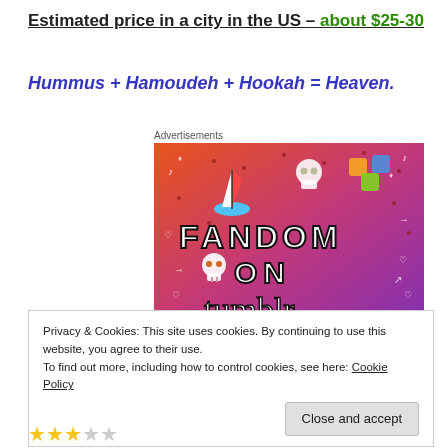Estimated price in a city in the US – about $25-30
Hummus + Hamoudeh + Hookah = Heaven.
Advertisements
[Figure (illustration): Colorful advertisement banner for Fandom on Tumblr, featuring large stylized text 'FANDOM ON tumblr' on an orange-to-purple gradient background with doodle icons (sailboat, skull, dice, music notes, hearts, arrows).]
Privacy & Cookies: This site uses cookies. By continuing to use this website, you agree to their use.
To find out more, including how to control cookies, see here: Cookie Policy